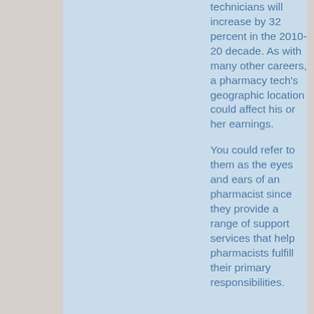technicians will increase by 32 percent in the 2010-20 decade. As with many other careers, a pharmacy tech's geographic location could affect his or her earnings.
You could refer to them as the eyes and ears of an pharmacist since they provide a range of support services that help pharmacists fulfill their primary responsibilities.